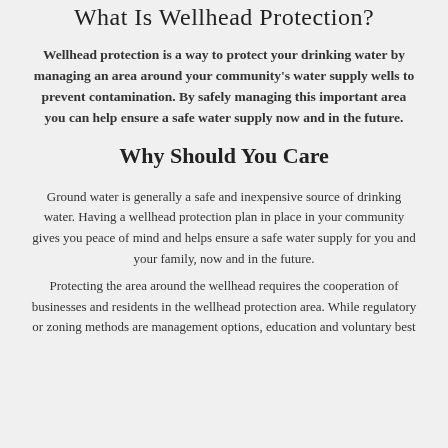What Is Wellhead Protection?
Wellhead protection is a way to protect your drinking water by managing an area around your community's water supply wells to prevent contamination. By safely managing this important area you can help ensure a safe water supply now and in the future.
Why Should You Care
Ground water is generally a safe and inexpensive source of drinking water. Having a wellhead protection plan in place in your community gives you peace of mind and helps ensure a safe water supply for you and your family, now and in the future.
Protecting the area around the wellhead requires the cooperation of businesses and residents in the wellhead protection area. While regulatory or zoning methods are management options, education and voluntary best